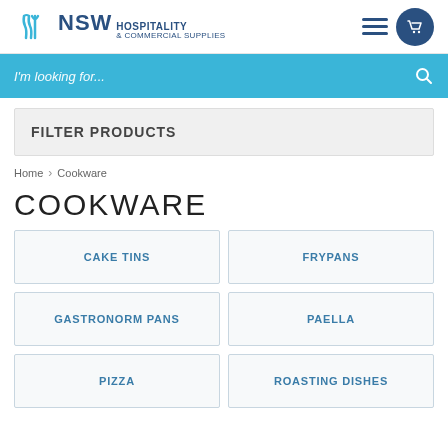NSW Hospitality & Commercial Supplies
I'm looking for...
FILTER PRODUCTS
Home > Cookware
COOKWARE
CAKE TINS
FRYPANS
GASTRONORM PANS
PAELLA
PIZZA
ROASTING DISHES